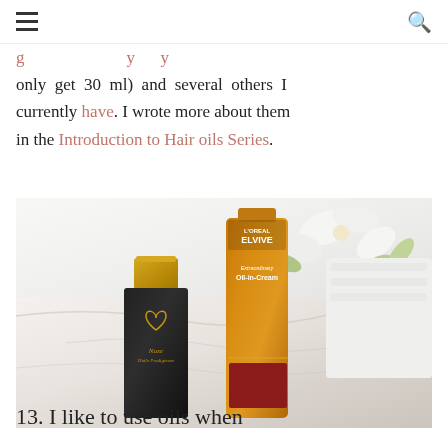only get 30 ml) and several others I currently have. I wrote more about them in the Introduction to Hair oils Series.
[Figure (photo): Photo of two hair oil products on a marble surface with white flowers and towels in the background: a black NUXE Huile Prodigieuse bottle and a gold L'Oreal Elvive Extraordinary Oil-in-Cream tube.]
13. I like to use oils when